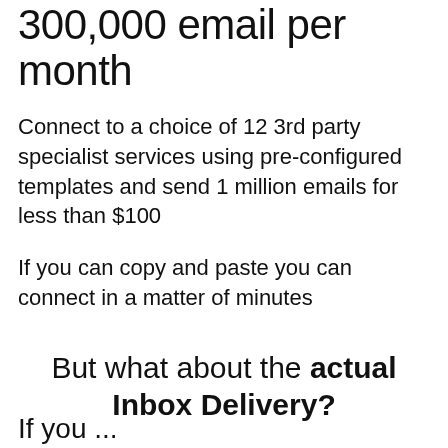300,000 email per month
Connect to a choice of 12 3rd party specialist services using pre-configured templates and send 1 million emails for less than $100
If you can copy and paste you can connect in a matter of minutes
But what about the actual Inbox Delivery?
If you...